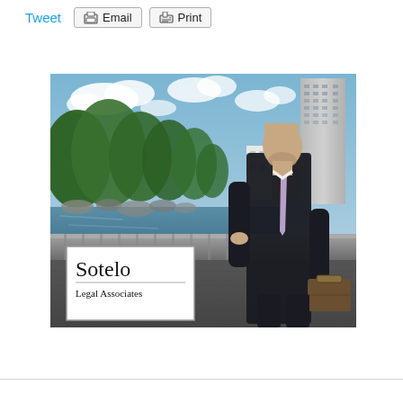Tweet  Email  Print
[Figure (photo): A bald man in a dark suit with a lavender tie carrying a briefcase walks on a bridge or walkway with a river, trees, and city buildings in the background. The Sotelo Legal Associates logo appears in a white box in the lower left of the image.]